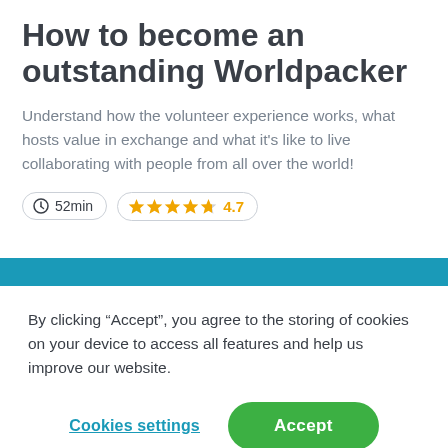How to become an outstanding Worldpacker
Understand how the volunteer experience works, what hosts value in exchange and what it's like to live collaborating with people from all over the world!
52min  ★★★★☆ 4.7
By clicking “Accept”, you agree to the storing of cookies on your device to access all features and help us improve our website.
Cookies settings  Accept